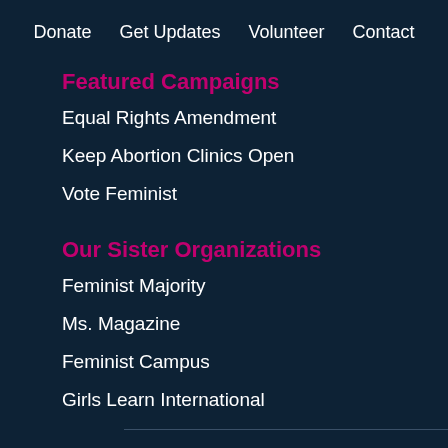Donate   Get Updates   Volunteer   Contact
Featured Campaigns
Equal Rights Amendment
Keep Abortion Clinics Open
Vote Feminist
Our Sister Organizations
Feminist Majority
Ms. Magazine
Feminist Campus
Girls Learn International